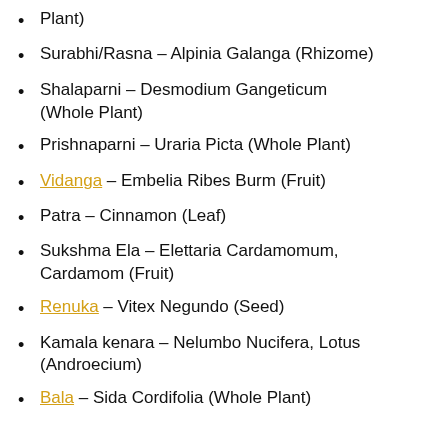Plant)
Surabhi/Rasna – Alpinia Galanga (Rhizome)
Shalaparni – Desmodium Gangeticum (Whole Plant)
Prishnaparni – Uraria Picta (Whole Plant)
Vidanga – Embelia Ribes Burm (Fruit)
Patra – Cinnamon (Leaf)
Sukshma Ela – Elettaria Cardamomum, Cardamom (Fruit)
Renuka – Vitex Negundo (Seed)
Kamala kenara – Nelumbo Nucifera, Lotus (Androecium)
Bala – Sida Cordifolia (Whole Plant)